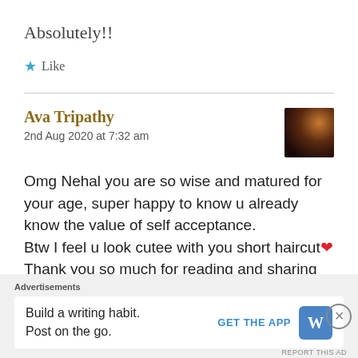Absolutely!!
★ Like
Ava Tripathy
2nd Aug 2020 at 7:32 am
[Figure (photo): Small avatar/profile photo showing a silhouetted figure against a warm-toned background]
Omg Nehal you are so wise and matured for your age, super happy to know u already know the value of self acceptance.
Btw I feel u look cutee with you short haircut❤
Thank you so much for reading and sharing your
Advertisements
Build a writing habit.
Post on the go.
GET THE APP